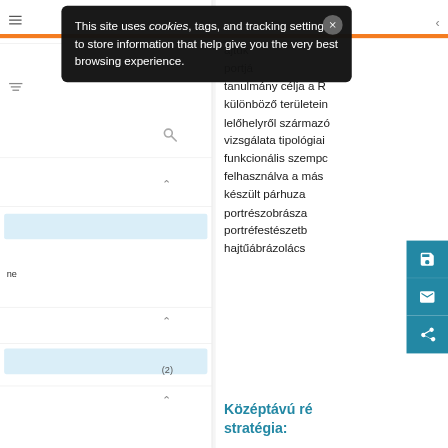[Figure (screenshot): Mobile website screenshot showing a cookie consent tooltip overlay in black with close button, a left navigation sidebar with search, filter, chevron icons, light blue selection boxes, and a right content area with Hungarian text and teal action buttons (save, email, share). An orange header bar is visible. The content text discusses typological and functional study of Roman portrait sculpture. A teal section header 'Középtávú ré... stratégia:' is visible at the bottom right.]